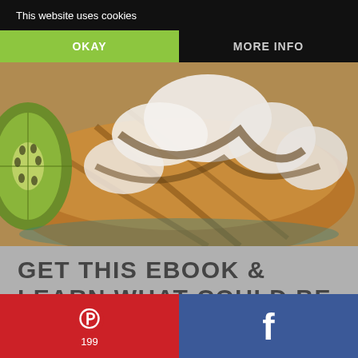This website uses cookies
OKAY
MORE INFO
[Figure (photo): Close-up photo of waffles or pancakes with white cream/frosting topping, with kiwi slice visible on the left side]
GET THIS EBOOK & LEARN WHAT COULD BE AFFECTING YOUR IMMUNE SYSTEM!
[Figure (infographic): Pinterest share button with Pinterest logo icon and count 199]
[Figure (infographic): Facebook share button with Facebook logo icon]